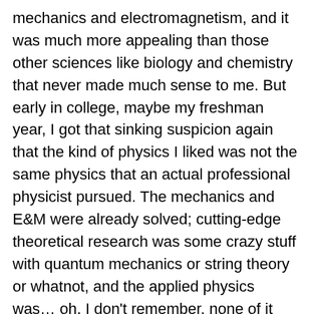mechanics and electromagnetism, and it was much more appealing than those other sciences like biology and chemistry that never made much sense to me. But early in college, maybe my freshman year, I got that sinking suspicion again that the kind of physics I liked was not the same physics that an actual professional physicist pursued. The mechanics and E&M were already solved; cutting-edge theoretical research was some crazy stuff with quantum mechanics or string theory or whatnot, and the applied physics was… oh, I don't remember, none of it appealed to me, stuff with lasers or liquid helium, who knows; it might have just been the general malaise of the physics majors I met, that made me lose interest.
Then I turned to electrical engineering and it was Good Enough. And here I am!
But every so often I brush up against some area of mathematics that resonates with me, I guess because it is closer to my sensibilities than physics was.